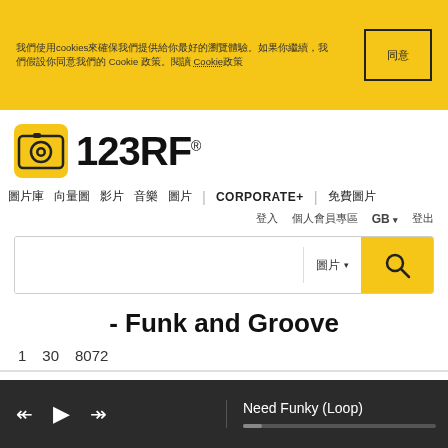我們使用cookies來確保我們提供給你最好的瀏覽體驗。如果你繼續，我們假設你同意我們的 Cookie 政策。閱讀 Cookie 政策
[Figure (screenshot): Cookie consent dismiss button]
[Figure (logo): 123RF logo with camera icon]
圖片庫  向量圖  影片  音樂  圖片  |  CORPORATE+  |  免費圖片
登入  個人會員專區  GB ▾  登出
- Funk and Groove
1  30  8072
Need Funky (Loop)